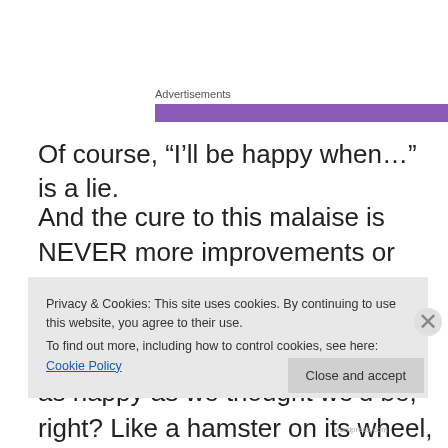Advertisements
[Figure (other): Horizontal purple advertisement bar with dark purple section on right]
Of course, “I’ll be happy when…” is a lie.
And the cure to this malaise is NEVER more improvements or possessions. I mean, we know this, right? Because when we do get what we want, we’re still not as happy as we thought we’d be, right? Like a hamster on its wheel, we keep spinning on the spot thinking we’re
Privacy & Cookies: This site uses cookies. By continuing to use this website, you agree to their use.
To find out more, including how to control cookies, see here: Cookie Policy
Close and accept